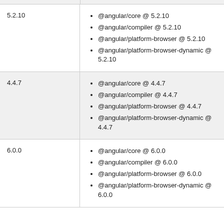| Version | Packages |
| --- | --- |
| 5.2.10 | @angular/core @ 5.2.10
@angular/compiler @ 5.2.10
@angular/platform-browser @ 5.2.10
@angular/platform-browser-dynamic @ 5.2.10 |
| 4.4.7 | @angular/core @ 4.4.7
@angular/compiler @ 4.4.7
@angular/platform-browser @ 4.4.7
@angular/platform-browser-dynamic @ 4.4.7 |
| 6.0.0 | @angular/core @ 6.0.0
@angular/compiler @ 6.0.0
@angular/platform-browser @ 6.0.0
@angular/platform-browser-dynamic @ 6.0.0 |